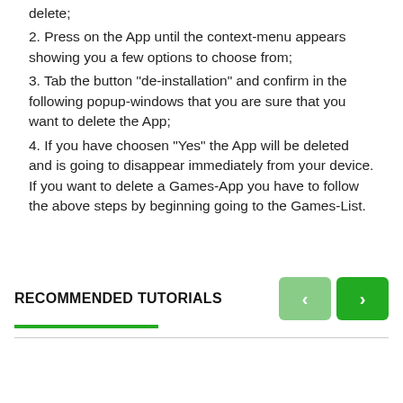delete;
2. Press on the App until the context-menu appears showing you a few options to choose from;
3. Tab the button "de-installation" and confirm in the following popup-windows that you are sure that you want to delete the App;
4. If you have choosen "Yes" the App will be deleted and is going to disappear immediately from your device. If you want to delete a Games-App you have to follow the above steps by beginning going to the Games-List.
RECOMMENDED TUTORIALS